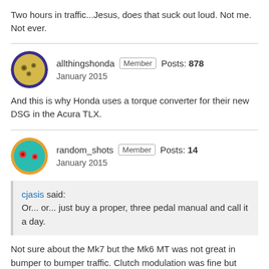Two hours in traffic...Jesus, does that suck out loud. Not me. Not ever.
allthingshonda Member Posts: 878 January 2015
And this is why Honda uses a torque converter for their new DSG in the Acura TLX.
random_shots Member Posts: 14 January 2015
cjasis said: Or... or... just buy a proper, three pedal manual and call it a day.
Not sure about the Mk7 but the Mk6 MT was not great in bumper to bumper traffic. Clutch modulation was fine but throttle calibration was poor. It makes crawling in bumper to